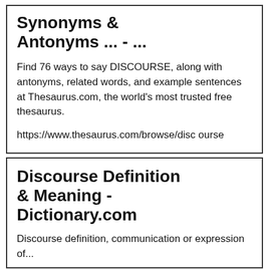Synonyms & Antonyms ... - ...
Find 76 ways to say DISCOURSE, along with antonyms, related words, and example sentences at Thesaurus.com, the world's most trusted free thesaurus.
https://www.thesaurus.com/browse/discourse
Discourse Definition & Meaning - Dictionary.com
Discourse definition, communication or expression of...